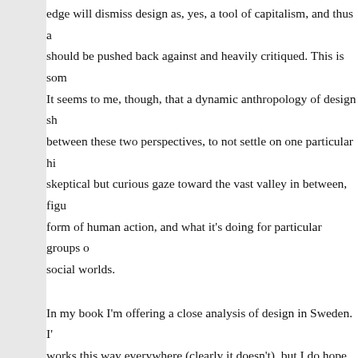edge will dismiss design as, yes, a tool of capitalism, and thus a should be pushed back against and heavily critiqued. This is som It seems to me, though, that a dynamic anthropology of design sh between these two perspectives, to not settle on one particular hi skeptical but curious gaze toward the vast valley in between, figu form of human action, and what it's doing for particular groups o social worlds.
In my book I'm offering a close analysis of design in Sweden. I' works this way everywhere (clearly it doesn't), but I do hope tha people to use to examine how design works in other contexts. It's point to say that design is political, but one of the things that anth critical analysis of how design operates as a political force in dif can also explore design as a mechanism of social control; or as a generator of ideology; or as a mediator between institutions and anthropological framework can be applied to more than just obje cities, processes, spaces, infrastructures, and more, and it will alv ideologies, and practices, without necessarily excising any one (o I think there are innumerable projects that a design anthropologi